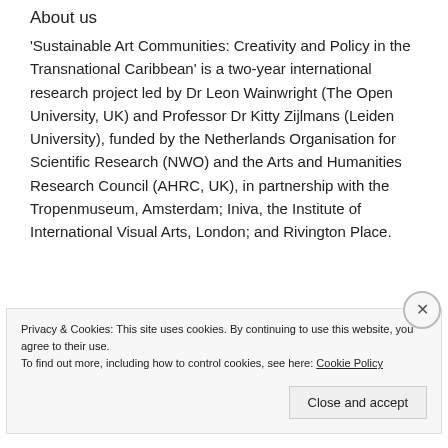About us
'Sustainable Art Communities: Creativity and Policy in the Transnational Caribbean' is a two-year international research project led by Dr Leon Wainwright (The Open University, UK) and Professor Dr Kitty Zijlmans (Leiden University), funded by the Netherlands Organisation for Scientific Research (NWO) and the Arts and Humanities Research Council (AHRC, UK), in partnership with the Tropenmuseum, Amsterdam; Iniva, the Institute of International Visual Arts, London; and Rivington Place.
Privacy & Cookies: This site uses cookies. By continuing to use this website, you agree to their use.
To find out more, including how to control cookies, see here: Cookie Policy
Close and accept